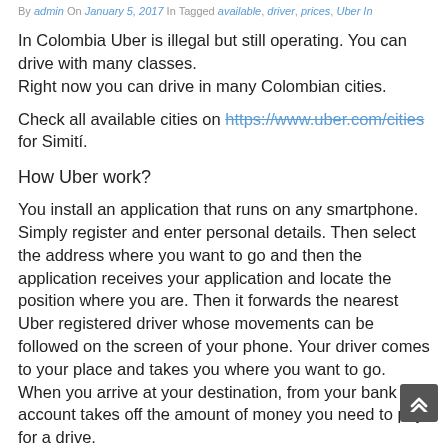By admin On January 5, 2017 In Tagged available, driver, prices, Uber In
In Colombia Uber is illegal but still operating. You can drive with many classes.
Right now you can drive in many Colombian cities.
Check all available cities on https://www.uber.com/cities for Simití.
How Uber work?
You install an application that runs on any smartphone. Simply register and enter personal details. Then select the address where you want to go and then the application receives your application and locate the position where you are. Then it forwards the nearest Uber registered driver whose movements can be followed on the screen of your phone. Your driver comes to your place and takes you where you want to go. When you arrive at your destination, from your bank account takes off the amount of money you need to pay for a drive.